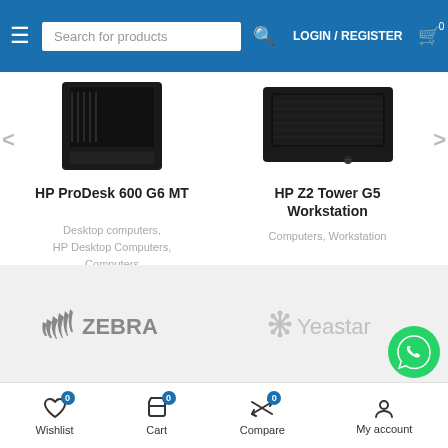Search for products | LOGIN / REGISTER
[Figure (screenshot): HP ProDesk 600 G6 MT desktop computer tower (black)]
HP ProDesk 600 G6 MT
Desktop computers, HP Desktop Computers, Computers
3.124,00 $ – 3.897,00 $
[Figure (screenshot): HP Z2 Tower G5 Workstation (black)]
HP Z2 Tower G5 Workstation
Computers, Workstation
4.699,00 $ – 5.445,00 $
[Figure (logo): Zebra Technologies logo]
[Figure (logo): Yeastar logo]
Wishlist 0 | Cart 0 | Compare 0 | My account